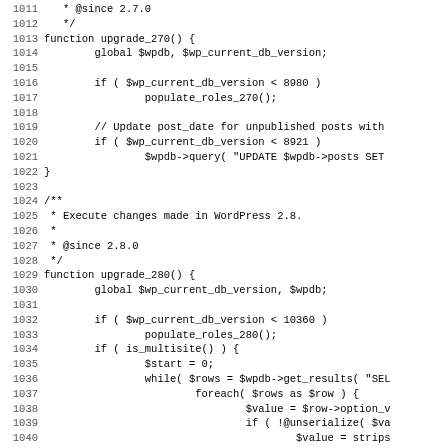Code listing lines 1011-1043 showing WordPress upgrade_270() and upgrade_280() PHP functions